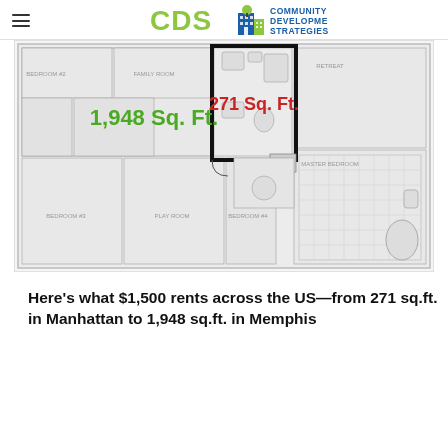CDS Community Development Strategies
[Figure (illustration): Floor plan illustration showing two highlighted areas: a large area labeled '1,948 Sq. Ft.' in green (Memphis) and a smaller outlined area labeled '271 Sq. Ft.' in red (Manhattan), representing what $1,500 rents in each city.]
Here's what $1,500 rents across the US—from 271 sq.ft. in Manhattan to 1,948 sq.ft. in Memphis